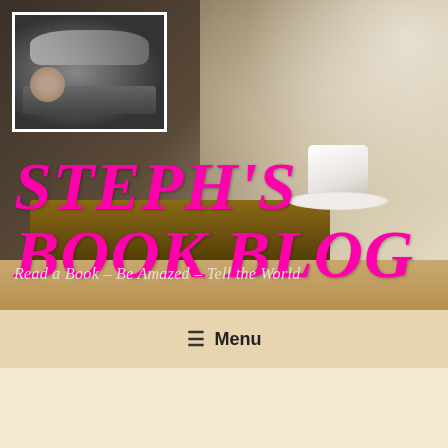[Figure (photo): Blog header banner showing a blurred background of books and a coffee cup on a wooden table. A thumbnail photo in the top-left corner shows a person sleeping on a pile of books.]
STEPH'S BOOK BLOG
Read a Book – Be Amazed – Tell the World
≡ Menu
CATEGORY: WILL SHINDLER